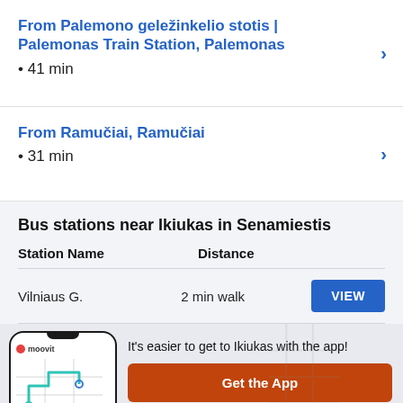From Palemono geležinkelio stotis | Palemonas Train Station, Palemonas
• 41 min
From Ramučiai, Ramučiai
• 31 min
Bus stations near Ikiukas in Senamiestis
| Station Name | Distance |
| --- | --- |
| Vilniaus G. | 2 min walk |
It's easier to get to Ikiukas with the app!
Get the App